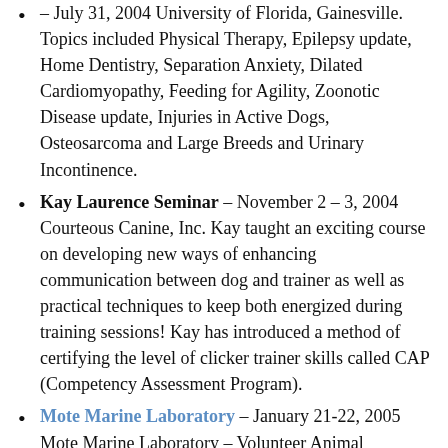– July 31, 2004 University of Florida, Gainesville. Topics included Physical Therapy, Epilepsy update, Home Dentistry, Separation Anxiety, Dilated Cardiomyopathy, Feeding for Agility, Zoonotic Disease update, Injuries in Active Dogs, Osteosarcoma and Large Breeds and Urinary Incontinence.
Kay Laurence Seminar – November 2 – 3, 2004 Courteous Canine, Inc. Kay taught an exciting course on developing new ways of enhancing communication between dog and trainer as well as practical techniques to keep both energized during training sessions! Kay has introduced a method of certifying the level of clicker trainer skills called CAP (Competency Assessment Program).
Mote Marine Laboratory – January 21-22, 2005 Mote Marine Laboratory – Volunteer Animal